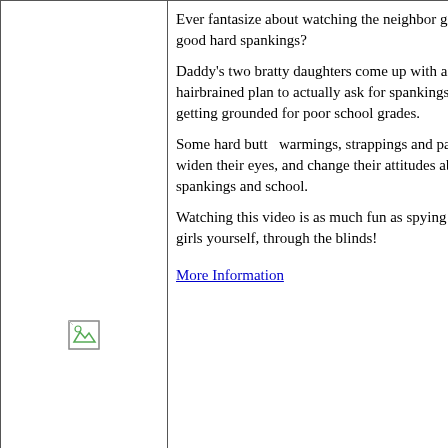[Figure (photo): Placeholder image icon in left cell of first row]
Ever fantasize about watching the neighbor girls get good hard spankings?

Daddy's two bratty daughters come up with a hairbrained plan to actually ask for spankings, getting grounded for poor school grades.

Some hard butt warmings, strappings and pa... widen their eyes, and change their attitudes about spankings and school.

Watching this video is as much fun as spying on the girls yourself, through the blinds!
More Information
Beach Girl Spankings 04 (VHS)
Format: VHS

You'd be surprised at the REAL LIFE girls who talked into getting their bottoms whacked! Two Wisconsin girls get some old-fashioned butt-w...
More Information
The Spankings Are REAL! Volume 1 (DVD
Sample 5 Raven Hill Spanking Movies! Hosted Richard Lewis.